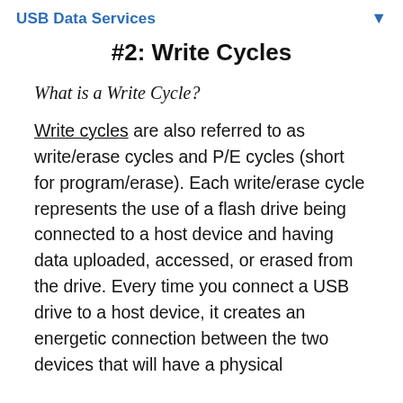USB Data Services
#2: Write Cycles
What is a Write Cycle?
Write cycles are also referred to as write/erase cycles and P/E cycles (short for program/erase). Each write/erase cycle represents the use of a flash drive being connected to a host device and having data uploaded, accessed, or erased from the drive. Every time you connect a USB drive to a host device, it creates an energetic connection between the two devices that will have a physical